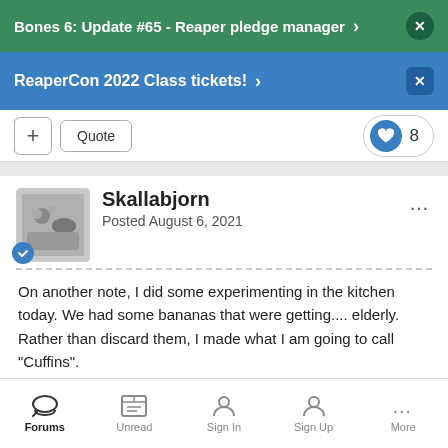Bones 6: Update #65 - Reaper pledge manager
ReaperCon 2022 Class tickets!
Skallabjorn
Posted August 6, 2021
On another note, I did some experimenting in the kitchen today. We had some bananas that were getting.... elderly. Rather than discard them, I made what I am going to call "Cuffins".
Cuffins
Forums  Unread  Sign In  Sign Up  More